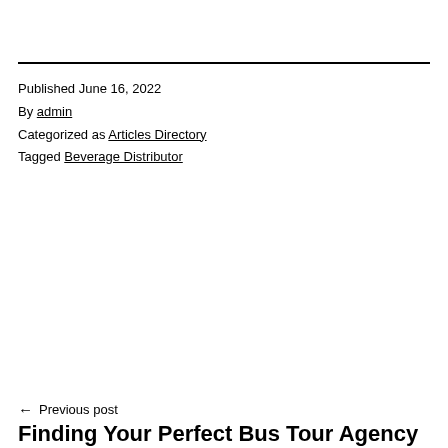Published June 16, 2022
By admin
Categorized as Articles Directory
Tagged Beverage Distributor
← Previous post
Finding Your Perfect Bus Tour Agency
Next post →